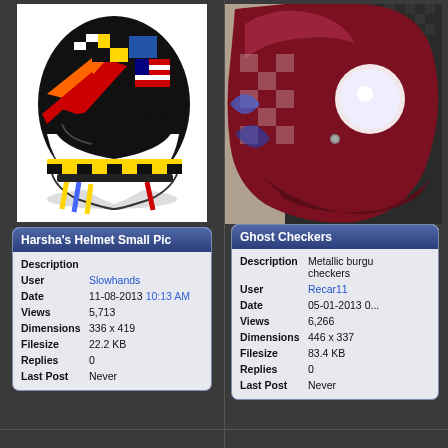[Figure (photo): Racing helmet with colorful multi-flag paint scheme including checkered patterns, red, orange, blue, yellow stripes on white background]
| Description |  |
| User | Slowhands |
| Date | 11-08-2013 10:13 AM |
| Views | 5,713 |
| Dimensions | 336 x 419 |
| Filesize | 22.2 KB |
| Replies | 0 |
| Last Post | Never |
[Figure (photo): Racing helmet with metallic burgundy and carbon fiber checkered pattern, ghost checkers design]
| Description | Metallic burgu checkers |
| User | Recar11 |
| Date | 05-01-2013 0... |
| Views | 6,266 |
| Dimensions | 446 x 337 |
| Filesize | 83.4 KB |
| Replies | 0 |
| Last Post | Never |